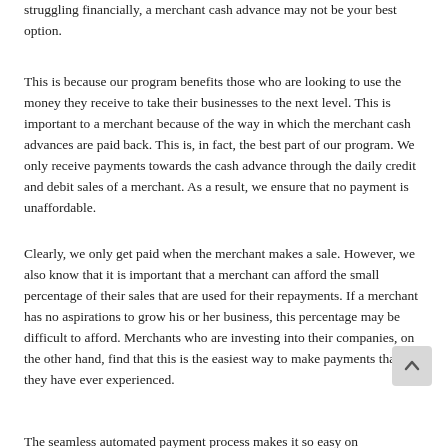Truthfully, if you find that you are in a situation where you are struggling financially, a merchant cash advance may not be your best option.
This is because our program benefits those who are looking to use the money they receive to take their businesses to the next level. This is important to a merchant because of the way in which the merchant cash advances are paid back. This is, in fact, the best part of our program. We only receive payments towards the cash advance through the daily credit and debit sales of a merchant. As a result, we ensure that no payment is unaffordable.
Clearly, we only get paid when the merchant makes a sale. However, we also know that it is important that a merchant can afford the small percentage of their sales that are used for their repayments. If a merchant has no aspirations to grow his or her business, this percentage may be difficult to afford. Merchants who are investing into their companies, on the other hand, find that this is the easiest way to make payments that they have ever experienced.
The seamless automated payment process makes it so easy on